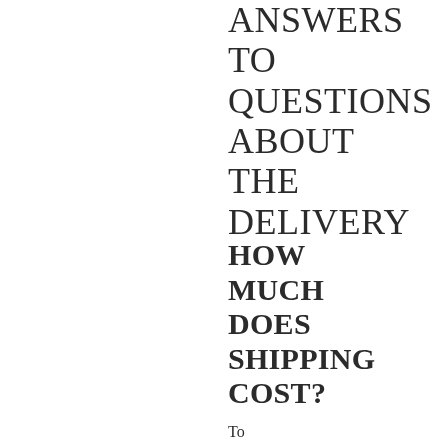ANSWERS TO QUESTIONS ABOUT THE DELIVERY
HOW MUCH DOES SHIPPING COST?
To